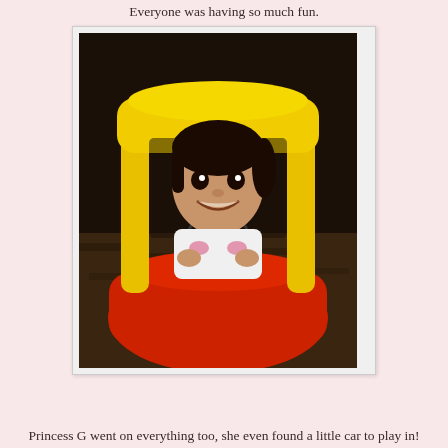Everyone was having so much fun.
[Figure (photo): A young girl smiling while sitting inside a red and yellow Little Tikes Cozy Coupe toy car, holding the steering wheel, on a patterned carpet floor.]
Princess G went on everything too, she even found a little car to play in!